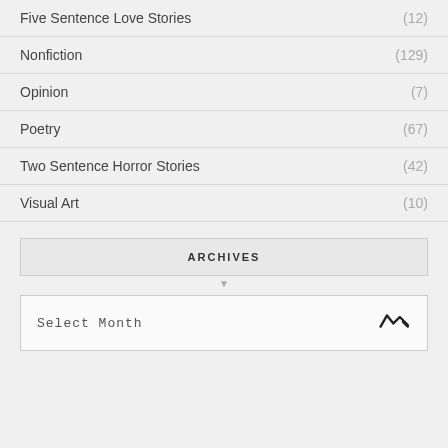Five Sentence Love Stories (12)
Nonfiction (129)
Opinion (7)
Poetry (67)
Two Sentence Horror Stories (42)
Visual Art (10)
ARCHIVES
Select Month